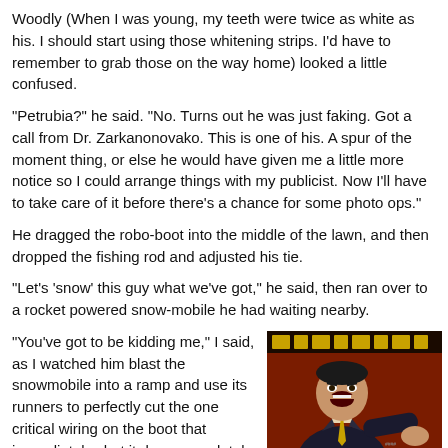Woodly (When I was young, my teeth were twice as white as his. I should start using those whitening strips. I'd have to remember to grab those on the way home) looked a little confused.
"Petrubia?" he said. "No. Turns out he was just faking. Got a call from Dr. Zarkanonovako. This is one of his. A spur of the moment thing, or else he would have given me a little more notice so I could arrange things with my publicist. Now I'll have to take care of it before there's a chance for some photo ops."
He dragged the robo-boot into the middle of the lawn, and then dropped the fishing rod and adjusted his tie.
"Let's 'snow' this guy what we've got," he said, then ran over to a rocket powered snow-mobile he had waiting nearby.
"You've got to be kidding me," I said, as I watched him blast the snowmobile into a ramp and use its runners to perfectly cut the one critical wiring on the boot that immediately shut it down completely. The guy was even
[Figure (illustration): Comic book style illustration of a man in a suit shouting or yelling, with text at the top partially visible, red and dark background tones]